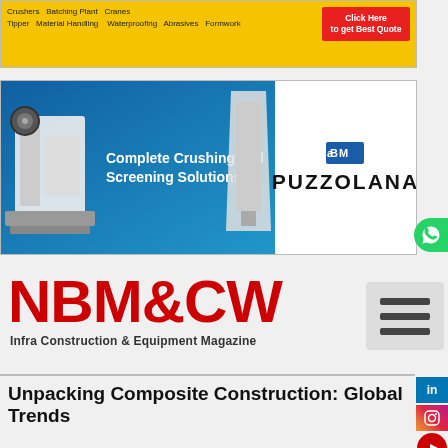[Figure (screenshot): Yellow advertisement banner with construction equipment categories (Crushers, Batching Plant, Cranes, Tipper, Material Handling, Waterproofing, Abrasives, Formwork) and a red 'Click Here to get Best Quote' button]
[Figure (screenshot): Puzzolana advertisement banner showing construction crushing and screening equipment machinery on a blue background with white section showing the PUZZOLANA logo]
[Figure (logo): NBM&CW logo in bold red text with tagline 'Infra Construction & Equipment Magazine' below]
Unpacking Composite Construction: Global Trends
Terri Meyer Boake, Professor, University of Waterloo, Canada
Introduction
The construction of tall buildings has had a marked shift